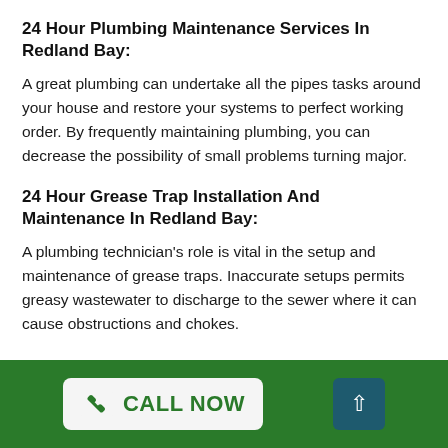24 Hour Plumbing Maintenance Services In Redland Bay:
A great plumbing can undertake all the pipes tasks around your house and restore your systems to perfect working order. By frequently maintaining plumbing, you can decrease the possibility of small problems turning major.
24 Hour Grease Trap Installation And Maintenance In Redland Bay:
A plumbing technician's role is vital in the setup and maintenance of grease traps. Inaccurate setups permits greasy wastewater to discharge to the sewer where it can cause obstructions and chokes.
CALL NOW